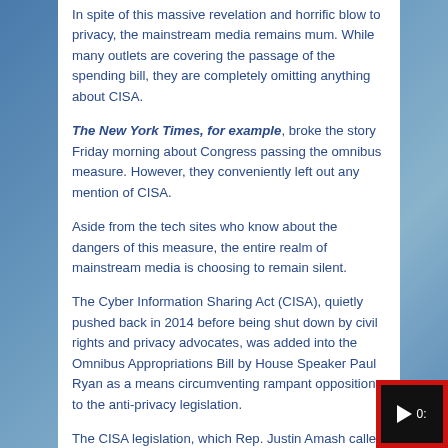In spite of this massive revelation and horrific blow to privacy, the mainstream media remains mum. While many outlets are covering the passage of the spending bill, they are completely omitting anything about CISA.
The New York Times, for example, broke the story Friday morning about Congress passing the omnibus measure. However, they conveniently left out any mention of CISA.
Aside from the tech sites who know about the dangers of this measure, the entire realm of mainstream media is choosing to remain silent.
The Cyber Information Sharing Act (CISA), quietly pushed back in 2014 before being shut down by civil rights and privacy advocates, was added into the Omnibus Appropriations Bill by House Speaker Paul Ryan as a means circumventing rampant opposition to the anti-privacy legislation.
The CISA legislation, which Rep. Justin Amash called "the